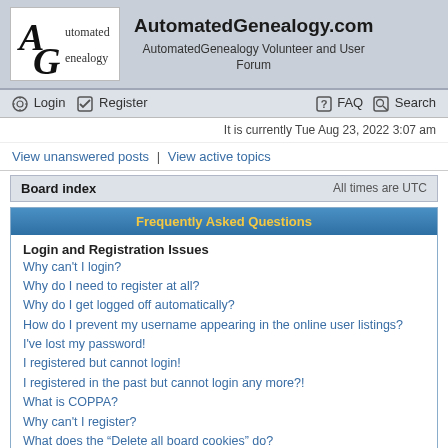[Figure (logo): Automated Genealogy logo with stylized AG letters]
AutomatedGenealogy.com
AutomatedGenealogy Volunteer and User Forum
Login | Register | FAQ | Search
It is currently Tue Aug 23, 2022 3:07 am
View unanswered posts | View active topics
Board index   All times are UTC
Frequently Asked Questions
Login and Registration Issues
Why can't I login?
Why do I need to register at all?
Why do I get logged off automatically?
How do I prevent my username appearing in the online user listings?
I've lost my password!
I registered but cannot login!
I registered in the past but cannot login any more?!
What is COPPA?
Why can't I register?
What does the "Delete all board cookies" do?
User Preferences and settings
How do I change my settings?